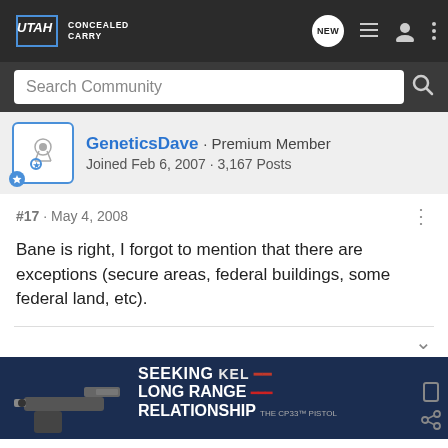UTAH CONCEALED CARRY
Search Community
GeneticsDave · Premium Member
Joined Feb 6, 2007 · 3,167 Posts
#17 · May 4, 2008
Bane is right, I forgot to mention that there are exceptions (secure areas, federal buildings, some federal land, etc).
[Figure (other): Advertisement banner: Kel-Tec CP33 Pistol ad reading SEEKING LONG RANGE RELATIONSHIP with gun image]